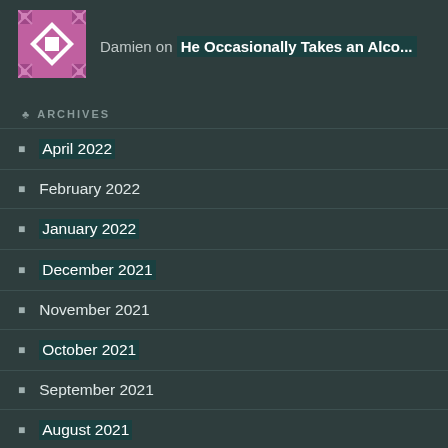[Figure (illustration): Pink and white decorative avatar with geometric diamond/cross pattern, pixel art style]
Damien on He Occasionally Takes an Alco...
ARCHIVES
April 2022
February 2022
January 2022
December 2021
November 2021
October 2021
September 2021
August 2021
July 2021